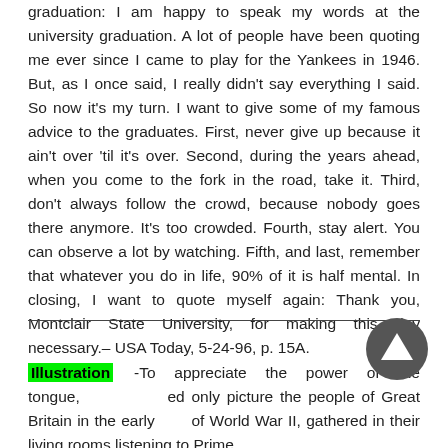graduation: I am happy to speak my words at the university graduation. A lot of people have been quoting me ever since I came to play for the Yankees in 1946. But, as I once said, I really didn't say everything I said. So now it's my turn. I want to give some of my famous advice to the graduates. First, never give up because it ain't over 'til it's over. Second, during the years ahead, when you come to the fork in the road, take it. Third, don't always follow the crowd, because nobody goes there anymore. It's too crowded. Fourth, stay alert. You can observe a lot by watching. Fifth, and last, remember that whatever you do in life, 90% of it is half mental. In closing, I want to quote myself again: Thank you, Montclair State University, for making this day necessary.– USA Today, 5-24-96, p. 15A.
Illustration -To appreciate the power of the tongue, we need only picture the people of Great Britain in the early days of World War II, gathered in their living rooms listening to Prime Minister...